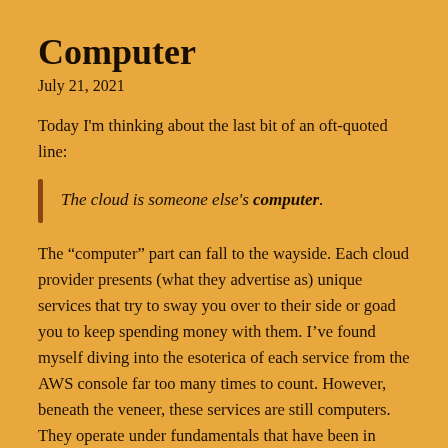Computer
July 21, 2021
Today I'm thinking about the last bit of an oft-quoted line:
The cloud is someone else's computer.
The “computer” part can fall to the wayside. Each cloud provider presents (what they advertise as) unique services that try to sway you over to their side or goad you to keep spending money with them. I’ve found myself diving into the esoterica of each service from the AWS console far too many times to count. However, beneath the veneer, these services are still computers. They operate under fundamentals that have been in place for a long